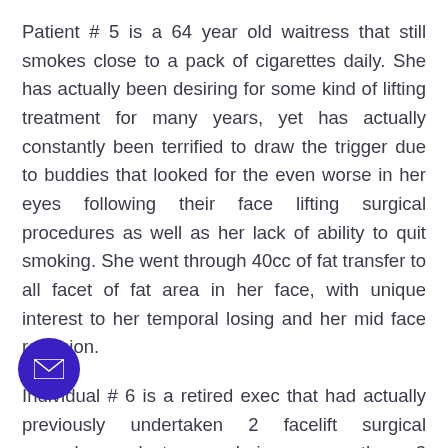Patient # 5 is a 64 year old waitress that still smokes close to a pack of cigarettes daily. She has actually been desiring for some kind of lifting treatment for many years, yet has actually constantly been terrified to draw the trigger due to buddies that looked for the even worse in her eyes following their face lifting surgical procedures as well as her lack of ability to quit smoking. She went through 40cc of fat transfer to all facet of fat area in her face, with unique interest to her temporal losing and her mid face retrusion.
Individual # 6 is a retired exec that had actually previously undertaken 2 facelift surgical procedures, last one being more than 3 years her. She remains in her mid 70's and still really energetic in many cultures she belongs to.